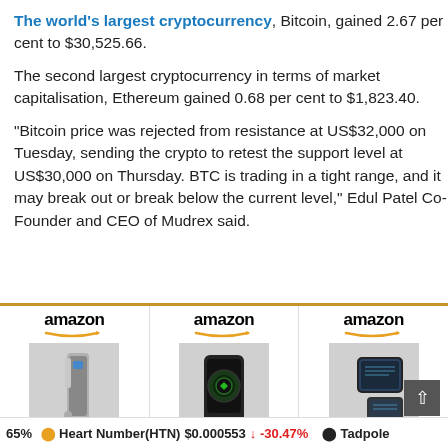The world's largest cryptocurrency, Bitcoin, gained 2.67 per cent to $30,525.66.
The second largest cryptocurrency in terms of market capitalisation, Ethereum gained 0.68 per cent to $1,823.40.
“Bitcoin price was rejected from resistance at US$32,000 on Tuesday, sending the crypto to retest the support level at US$30,000 on Thursday. BTC is trading in a tight range, and it may break out or break below the current level,” Edul Patel Co-Founder and CEO of Mudrex said.
[Figure (illustration): Three Amazon product listings side by side showing: Ledger Nano S hardware wallet, Trezor Model T hardware wallet, SecuX Crypto hardware wallet, each with Amazon logo and orange arrow brand mark.]
65%  Heart Number(HTN)  $0.000553  -30.47%  Tadpole